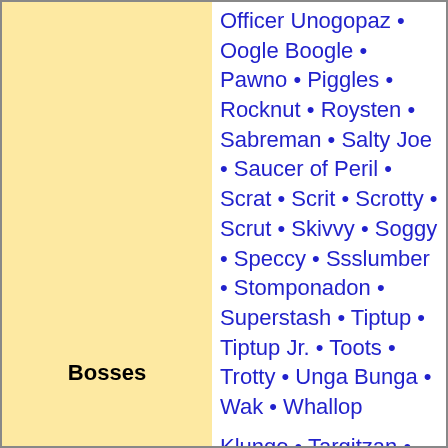Officer Unogopaz • Oogle Boogle • Pawno • Piggles • Rocknut • Roysten • Sabreman • Salty Joe • Saucer of Peril • Scrat • Scrit • Scrotty • Scrut • Skivvy • Soggy • Speccy • Ssslumber • Stomponadon • Superstash • Tiptup • Tiptup Jr. • Toots • Trotty • Unga Bunga • Wak • Whallop
Bosses
Klungo • Targitzan • Old King Coal • Mr. Patch • Lord Woo Fak Fak • Terry • Weldar • Chilli Billi • Chilly Willy • Mingy Jongo • Gruntilda • Hag 1